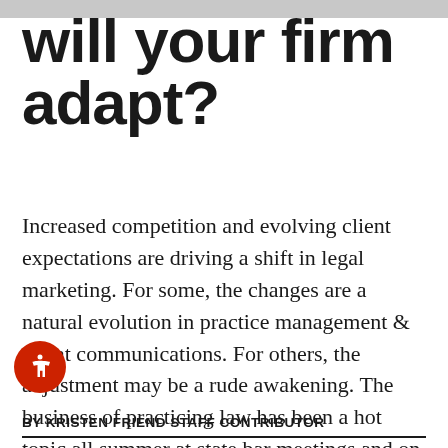will your firm adapt?
Increased competition and evolving client expectations are driving a shift in legal marketing. For some, the changes are a natural evolution in practice management & client communications. For others, the adjustment may be a rude awakening. The business of practicing law has been a hot topic all summer at state bar meetings and on legal…
BY KRISTEN FRIEND STAFF CONTRIBUTOR